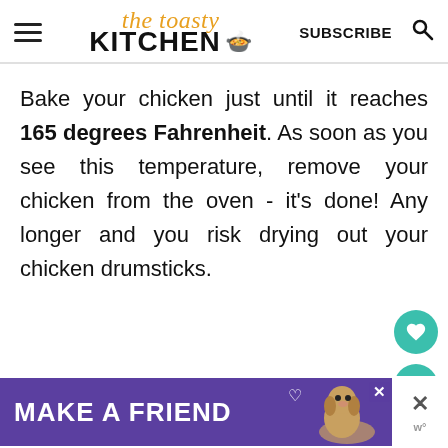The Toasty Kitchen — SUBSCRIBE
Bake your chicken just until it reaches 165 degrees Fahrenheit. As soon as you see this temperature, remove your chicken from the oven - it's done! Any longer and you risk drying out your chicken drumsticks.
[Figure (other): Advertisement banner: purple background, text MAKE A FRIEND with dog image and close button]